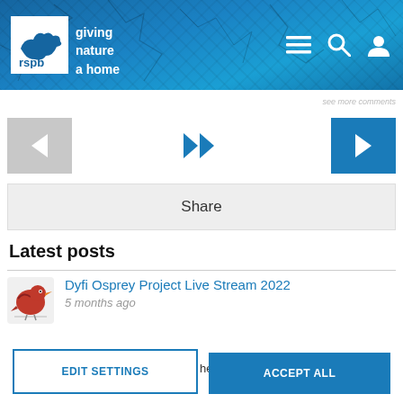rspb giving nature a home
[Figure (screenshot): Navigation arrows: left (grey), fast-forward (blue double arrows), right (blue)]
[Figure (screenshot): Share button bar]
Latest posts
Dyfi Osprey Project Live Stream 2022 — 5 months ago
Cookie Preferences
Accepting all non-essential cookies helps us to personalise your experience
EDIT SETTINGS | ACCEPT ALL